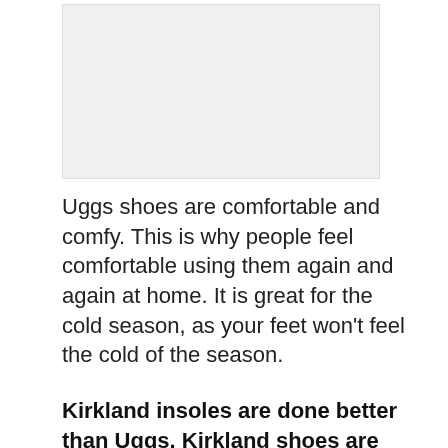[Figure (photo): Light gray image placeholder area at top of page]
Uggs shoes are comfortable and comfy. This is why people feel comfortable using them again and again at home. It is great for the cold season, as your feet won't feel the cold of the season.
Kirkland insoles are done better than Uggs. Kirkland shoes are embossed with Comfort foam insole and this adds greatly to the comfortability of